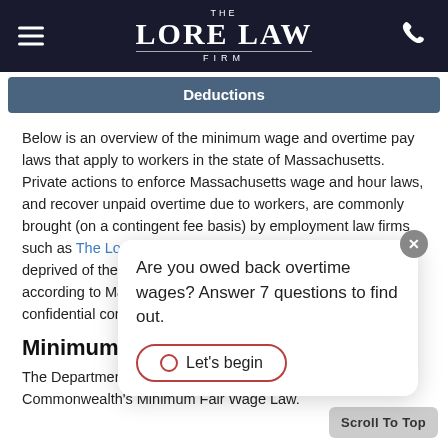[Figure (logo): The Lore Law Firm logo on dark header with hamburger menu and phone icon]
Deductions
Below is an overview of the minimum wage and overtime pay laws that apply to workers in the state of Massachusetts. Private actions to enforce Massachusetts wage and hour laws, and recover unpaid overtime due to workers, are commonly brought (on a contingent fee basis) by employment law firms such as The Lore Law Firm. If you believe that you have been deprived of the overtime pay that you are legally entitled to according to Massachusetts law, contact us for a free and confidential consultation.
Minimum Wage
The Department of Labor Standards administers the Commonwealth's Minimum Fair Wage Law.
[Figure (screenshot): Popup overlay: Are you owed back overtime wages? Answer 7 questions to find out. With Let's begin button and close X button.]